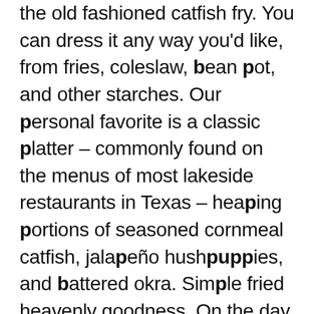the old fashioned catfish fry. You can dress it any way you'd like, from fries, coleslaw, bean pot, and other starches. Our personal favorite is a classic platter – commonly found on the menus of most lakeside restaurants in Texas – heaping portions of seasoned cornmeal catfish, jalapeño hushpuppies, and battered okra. Simple fried heavenly goodness. On the day of testing, we happened to score a fresh basket of home grown okra from my mother's garden. Lucky us, nothing beats mom's produce. Our goal was to prepare each side dish and main, using both a deep p oil and our shiny new air fryer. Plus, it's a great way christen the appliance properly, and an even greater excuse to stuff our faces in cornmeal covered deliciousness. All ingredients are freshly